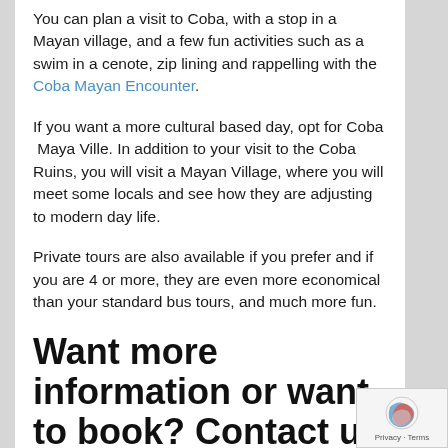You can plan a visit to Coba, with a stop in a Mayan village, and a few fun activities such as a swim in a cenote, zip lining and rappelling with the Coba Mayan Encounter.
If you want a more cultural based day, opt for Coba  Maya Ville. In addition to your visit to the Coba Ruins, you will visit a Mayan Village, where you will meet some locals and see how they are adjusting to modern day life.
Private tours are also available if you prefer and if you are 4 or more, they are even more economical than your standard bus tours, and much more fun.
Want more information or want to book? Contact us 1-888-537-9797.